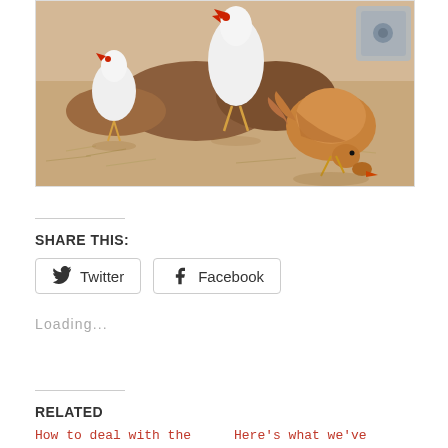[Figure (photo): Chickens foraging on dry, sandy ground with red dirt mounds. Several chickens visible including white roosters and a golden-brown hen pecking at the ground. A metal container visible in the background right.]
SHARE THIS:
Twitter   Facebook
Loading...
RELATED
How to deal with the
Here's what we've